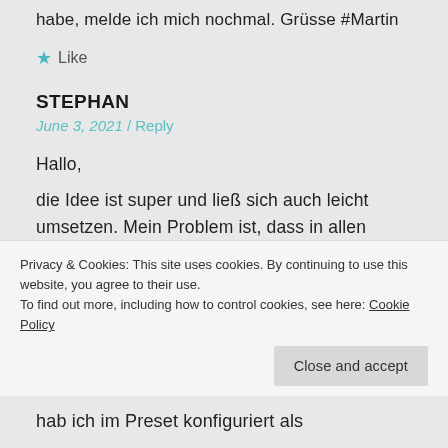habe, melde ich mich nochmal. Grüsse #Martin
★ Like
STEPHAN
June 3, 2021 / Reply
Hallo,
die Idee ist super und ließ sich auch leicht umsetzen. Mein Problem ist, dass in allen Playlists, zu denen ich die Links habe, Weiterleitungen zum eigentlichen Stream stehen. Und diese Weiterleitungen enthalten
Privacy & Cookies: This site uses cookies. By continuing to use this website, you agree to their use.
To find out more, including how to control cookies, see here: Cookie Policy
Close and accept
hab ich im Preset konfiguriert als